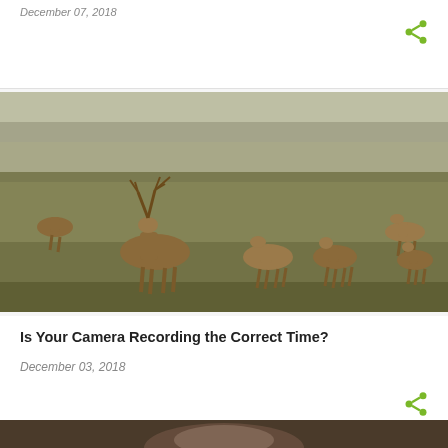December 07, 2018
[Figure (photo): A herd of elk grazing in an open field. A large bull elk with antlers stands prominently in the left-center. Several other elk are scattered across the grassy field. Background shows trees and a misty sky.]
Is Your Camera Recording the Correct Time?
December 03, 2018
[Figure (photo): Partial view of a person at the bottom of the page, cropped.]